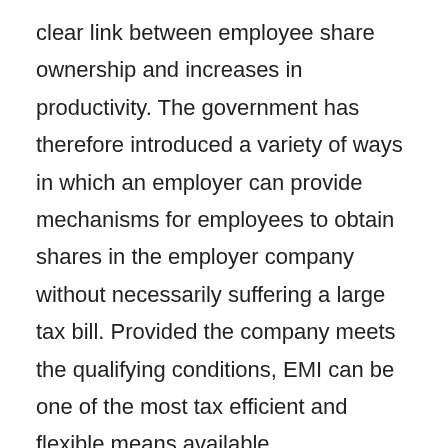clear link between employee share ownership and increases in productivity. The government has therefore introduced a variety of ways in which an employer can provide mechanisms for employees to obtain shares in the employer company without necessarily suffering a large tax bill. Provided the company meets the qualifying conditions, EMI can be one of the most tax efficient and flexible means available.
EMI allows selected employees (often key to the employer) to be given the opportunity to acquire a significant number of shares in their employer through the issue of options. Whilst an EMI can offer significant tax advantages, the key driver for any incentive arrangement should be the commercial objectives of